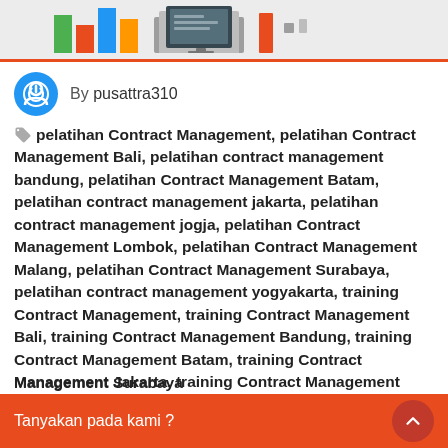[Figure (illustration): Top banner with colored bar chart bars, a monitor/desk graphic, and an orange block element on a light gray background with orange bottom border]
By pusattra310
pelatihan Contract Management, pelatihan Contract Management Bali, pelatihan contract management bandung, pelatihan Contract Management Batam, pelatihan contract management jakarta, pelatihan contract management jogja, pelatihan Contract Management Lombok, pelatihan Contract Management Malang, pelatihan Contract Management Surabaya, pelatihan contract management yogyakarta, training Contract Management, training Contract Management Bali, training Contract Management Bandung, training Contract Management Batam, training Contract Management Jakarta, training Contract Management Jogja, training Contract Management Surabaya
Tanyakan pada kami ?